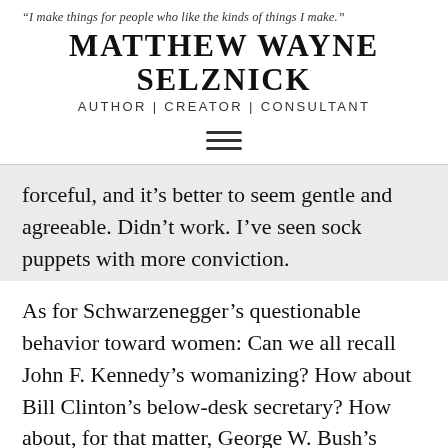“I make things for people who like the kinds of things I make.”
MATTHEW WAYNE SELZNICK
AUTHOR | CREATOR | CONSULTANT
[Figure (other): Hamburger menu icon (three horizontal lines)]
forceful, and it’s better to seem gentle and agreeable. Didn’t work. I’ve seen sock puppets with more conviction.
As for Schwarzenegger’s questionable behavior toward women: Can we all recall John F. Kennedy’s womanizing? How about Bill Clinton’s below-desk secretary? How about, for that matter, George W. Bush’s